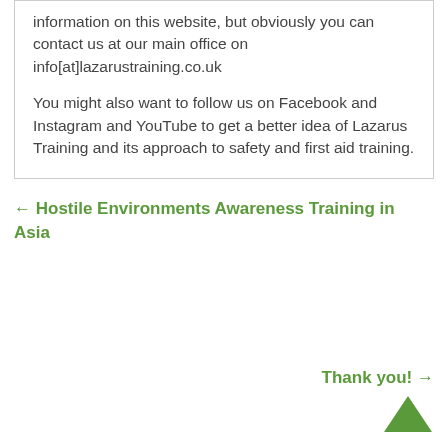information on this website, but obviously you can contact us at our main office on info[at]lazarustraining.co.uk
You might also want to follow us on Facebook and Instagram and YouTube to get a better idea of Lazarus Training and its approach to safety and first aid training.
← Hostile Environments Awareness Training in Asia
Thank you! →